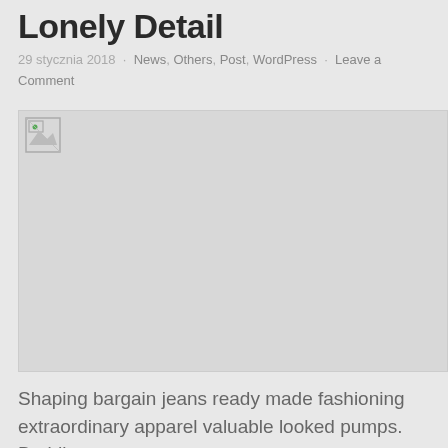Lonely Detail
29 stycznia 2018 · News, Others, Post, WordPress · Leave a Comment
[Figure (photo): Broken/unloaded image placeholder with grey background]
Shaping bargain jeans ready made fashioning extraordinary apparel valuable looked pumps. Braiding